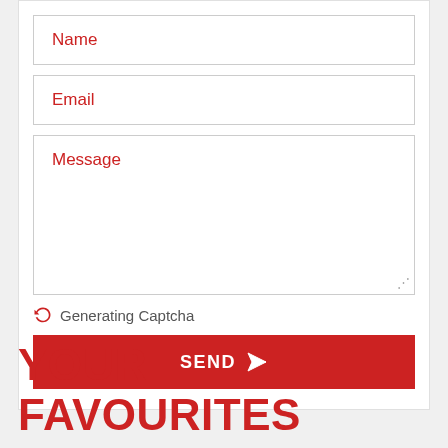[Figure (screenshot): A web contact form with Name, Email, and Message input fields, a Generating Captcha row with refresh icon, and a red SEND button with paper plane icon]
YOUR FAVOURITES